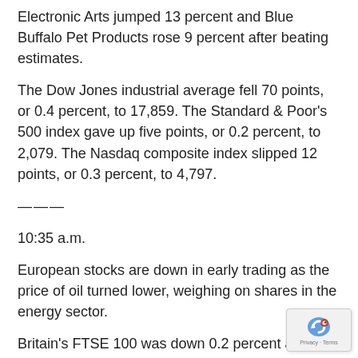Electronic Arts jumped 13 percent and Blue Buffalo Pet Products rose 9 percent after beating estimates.
The Dow Jones industrial average fell 70 points, or 0.4 percent, to 17,859. The Standard & Poor's 500 index gave up five points, or 0.2 percent, to 2,079. The Nasdaq composite index slipped 12 points, or 0.3 percent, to 4,797.
———
10:35 a.m.
European stocks are down in early trading as the price of oil turned lower, weighing on shares in the energy sector.
Britain's FTSE 100 was down 0.2 percent at 6,142 and Germany's DAX was 0.6 percent lower at 9,989. France's CAC 40 was 0.9 percent lower at 4,298.